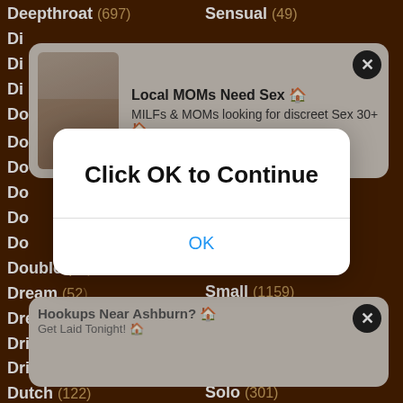Deepthroat (697)
Sensual (49)
Doggystyle (379)
Shorts (16)
Double (30)
Slim (?)
Dream (52)
Slave (?)
Dress (31)
Slim (94)
Drilled (27)
Slut (348)
Drinking (11)
Small (1159)
Dutch (122)
Smoking (10)
Ebony (276)
Sofa (12)
Emo (28)
Softcore (115)
Erotic (69)
Solo (301)
[Figure (screenshot): Ad banner: Local MOMs Need Sex - MILFs & MOMs looking for discreet Sex 30+]
[Figure (screenshot): Ad banner: Hookups Near Ashburn? Get Laid Tonight!]
Click OK to Continue
OK